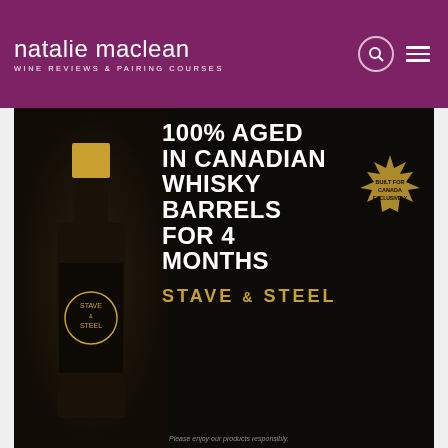natalie maclean — WINE REVIEWS & PAIRING COURSES
[Figure (photo): Stave & Steel wine advertisement on dark background showing a wine bottle on the left and text reading '100% AGED IN CANADIAN WHISKY BARRELS FOR 4 MONTHS' with a maple leaf badge saying 'BUILT FOR CANADA EXCLUSIVELY' and the brand name 'STAVE & STEEL' at the bottom, with a small disclaimer 'Please enjoy our products responsibly']
[Figure (infographic): Promotional card for Natalie Maclean wine pairing course. Text reads 'WANT TO LEARN HOW TO' in purple, 'PAIR WINE & FOOD?' in large bold purple, 'Join me in a free online video class to' in dark text, with a photo of a blonde woman in a purple top on the right.]